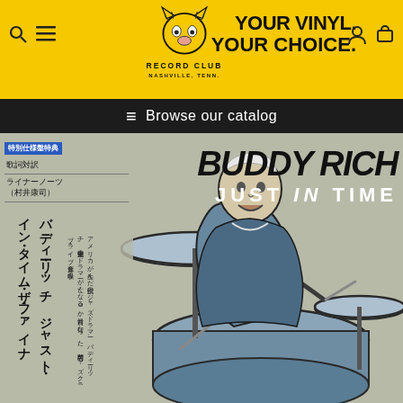Record Club Nashville, Tenn. — YOUR VINYL. YOUR CHOICE.
≡ Browse our catalog
[Figure (illustration): Album cover for Buddy Rich 'Just In Time' — illustration of Buddy Rich playing drums, with Japanese text on the left panel including special edition badge, lyrics translation note, liner notes credit (村井康司). Background is grey-green. Large bold text reads BUDDY RICH JUST IN TIME.]
特別仕様盤特典
歌詞対訳
ライナーノーツ（村井康司）
バディー・リッチ ジャスト・イン・タイム・ザ・ファイナ…
アメリカが生んだ伝説のジャズ・ドラマー、バディー・リッチ。史上最強のドラマーが亡くなる5か月前に行なった、英名門ジャズクラブ・ライブ音源を収録！